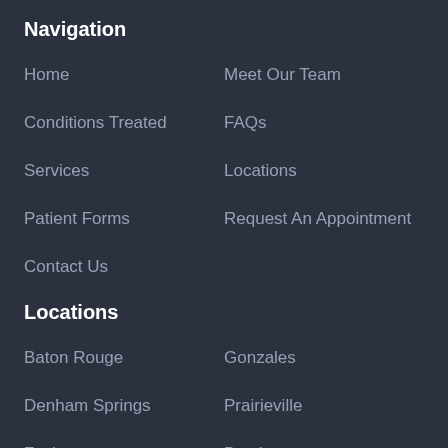Navigation
Home
Meet Our Team
Conditions Treated
FAQs
Services
Locations
Patient Forms
Request An Appointment
Contact Us
Locations
Baton Rouge
Gonzales
Denham Springs
Prairieville
Zachary
Brusly